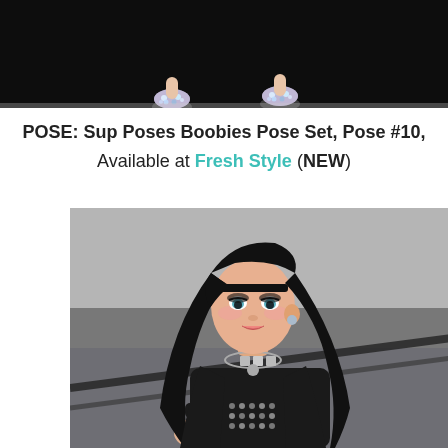[Figure (photo): Top portion of a virtual avatar's feet wearing sparkly blue/silver jeweled flat shoes against a dark black background]
POSE:  Sup Poses Boobies Pose Set, Pose #10, Available at Fresh Style (NEW)
[Figure (photo): A virtual 3D avatar woman with long black hair, blue eyes, wearing a black outfit with a silver jeweled necklace, posed against a gray background]